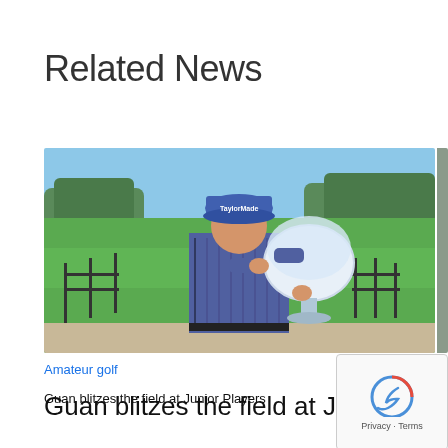Related News
[Figure (photo): Young golfer wearing a TaylorMade cap and blue striped polo shirt holding a large crystal trophy/bowl, standing in front of a golf course with green fairway and water hazard in the background.]
Amateur golf
Professio
Guan blitzes the field at Junior Players
Tour r